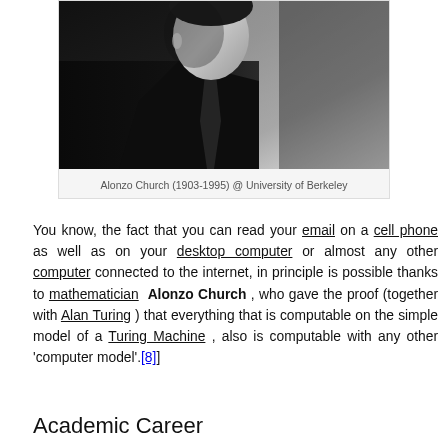[Figure (photo): Black and white portrait photo of Alonzo Church, cropped to show upper body in dark clothing]
Alonzo Church (1903-1995) @ University of Berkeley
You know, the fact that you can read your email on a cell phone as well as on your desktop computer or almost any other computer connected to the internet, in principle is possible thanks to mathematician Alonzo Church , who gave the proof (together with Alan Turing ) that everything that is computable on the simple model of a Turing Machine , also is computable with any other 'computer model'.[8]
Academic Career